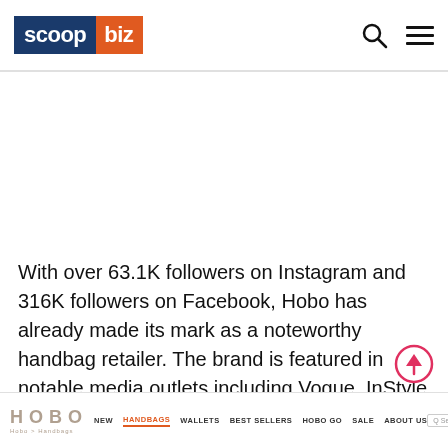scoop biz — header with logo and navigation icons
With over 63.1K followers on Instagram and 316K followers on Facebook, Hobo has already made its mark as a noteworthy handbag retailer. The brand is featured in notable media outlets including Vogue, InStyle, and Elle. Hobo purses can be seen on the arms of celebrities like Naomi Watts, Kate Hudson, and Celine Dion.
HOBO | NEW | HANDBAGS | WALLETS | BEST SELLERS | HOBO GO | SALE | ABOUT US | Search